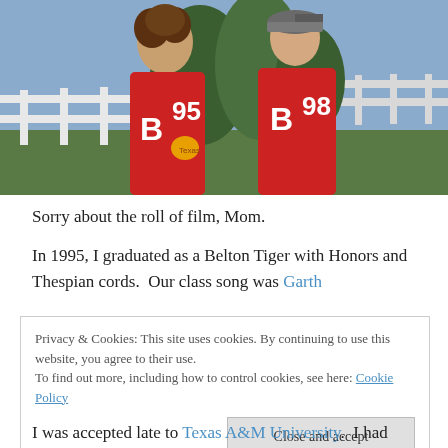[Figure (photo): Two teenagers wearing red letterman jackets with 'B' letter and numbers 95 and 98, standing outside near white fence and green trees.]
Sorry about the roll of film, Mom.
In 1995, I graduated as a Belton Tiger with Honors and Thespian cords.  Our class song was Garth
Privacy & Cookies: This site uses cookies. By continuing to use this website, you agree to their use.
To find out more, including how to control cookies, see here: Cookie Policy
[Close and accept]
I was accepted late to Texas A&M University.  I had